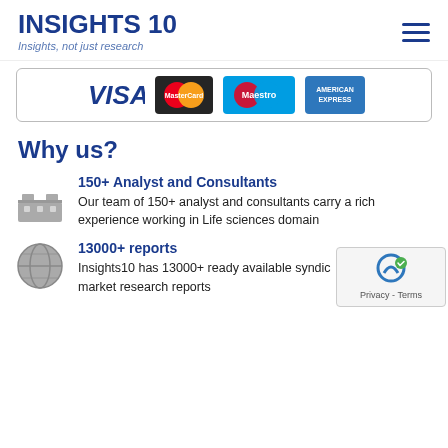INSIGHTS 10 — Insights, not just research
[Figure (other): Payment icons: VISA, MasterCard, Maestro, American Express]
Why us?
[Figure (illustration): Factory/industry icon in grey]
150+ Analyst and Consultants
Our team of 150+ analyst and consultants carry a rich experience working in Life sciences domain
[Figure (illustration): Globe icon in grey]
13000+ reports
Insights10 has 13000+ ready available syndicated market research reports